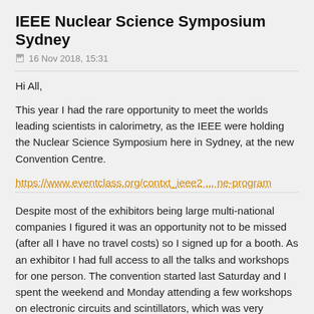IEEE Nuclear Science Symposium Sydney
16 Nov 2018, 15:31
Hi All,
This year I had the rare opportunity to meet the worlds leading scientists in calorimetry, as the IEEE were holding the Nuclear Science Symposium here in Sydney, at the new Convention Centre.
https://www.eventclass.org/contxt_ieee2 ... ne-program
Despite most of the exhibitors being large multi-national companies I figured it was an opportunity not to be missed (after all I have no travel costs) so I signed up for a booth. As an exhibitor I had full access to all the talks and workshops for one person. The convention started last Saturday and I spent the weekend and Monday attending a few workshops on electronic circuits and scintillators, which was very interesting, I then spent most of Tuesday to Thursday standing at my booth explaining to puzzled scientists how we do spectrometry for $499.00. Two